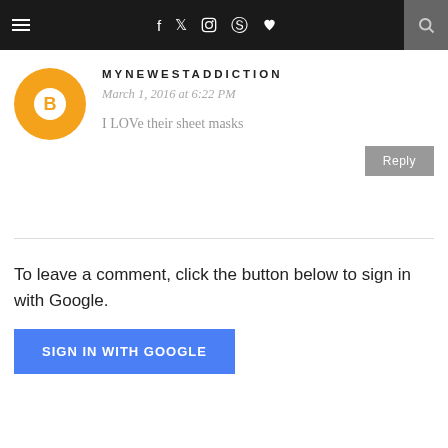≡  f  twitter  instagram  pinterest  heart  🔍
MYNEWESTADDICTION
March 1, 2016 at 6:22 PM
I LOVe their sheet masks
Reply
To leave a comment, click the button below to sign in with Google.
SIGN IN WITH GOOGLE